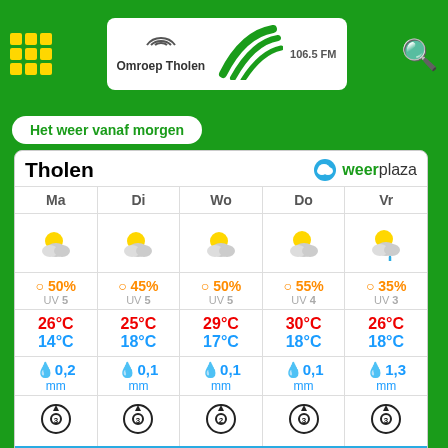[Figure (logo): Omroep Tholen radio logo with 106.5 FM and green swoosh]
[Figure (logo): Yellow search icon (magnifying glass)]
Het weer vanaf morgen
| Ma | Di | Wo | Do | Vr |
| --- | --- | --- | --- | --- |
| ☀️cloudy icon | ☀️cloudy icon | ☀️cloudy icon | ☀️cloudy icon | ☀️cloudy icon |
| ○ 50%
UV 5 | ○ 45%
UV 5 | ○ 50%
UV 5 | ○ 55%
UV 4 | ○ 35%
UV 3 |
| 26°C
14°C | 25°C
18°C | 29°C
17°C | 30°C
18°C | 26°C
18°C |
| 💧0,2
mm | 💧0,1
mm | 💧0,1
mm | 💧0,1
mm | 💧1,3
mm |
| wind 3 | wind 3 | wind 2 | wind 3 | wind 3 |
Meer Tholen
Tholen
[Figure (logo): Weerplaza logo with cloud icon]